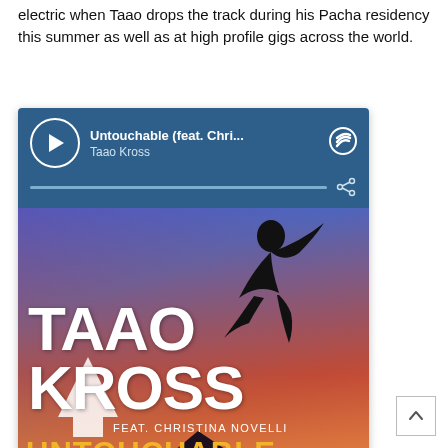electric when Taao drops the track during his Pacha residency this summer as well as at high profile gigs across the world.
[Figure (screenshot): Spotify embedded player showing 'Untouchable (feat. Chri...' by Taao Kross, with album art below showing the Taao Kross - Untouchable feat. Christina Novelli cover with a silhouette of a jumping person against a colorful sunset sky, with white text 'TAAO KROSS', 'FEAT. CHRISTINA NOVELLI', and golden text 'UNTOUCHABLE', plus a :d logo badge.]